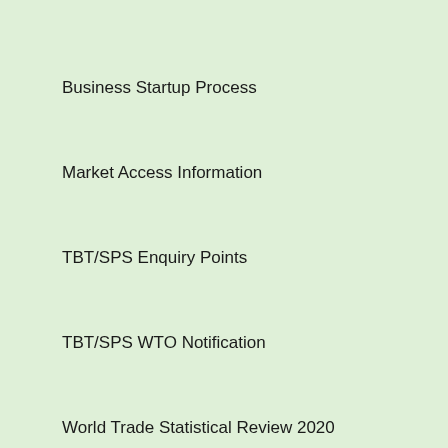Business Startup Process
Market Access Information
TBT/SPS Enquiry Points
TBT/SPS WTO Notification
World Trade Statistical Review 2020
Women Entrepreneurship Development
News & Articles
NewsLetter